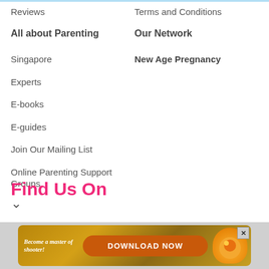Reviews
Terms and Conditions
All about Parenting
Our Network
Singapore
New Age Pregnancy
Experts
E-books
E-guides
Join Our Mailing List
Online Parenting Support Groups
Find Us On
[Figure (other): Advertisement banner: Become a master of shooter! DOWNLOAD NOW button with game imagery]